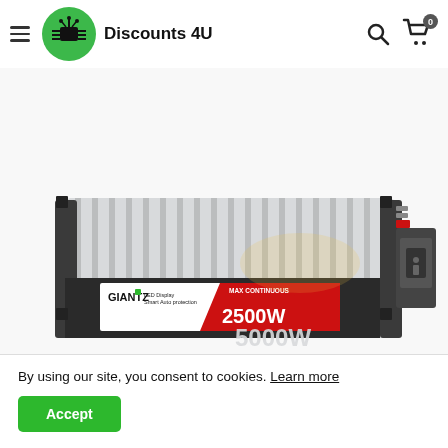[Figure (logo): Discounts 4U logo with green circle containing a circuit/chip icon and text 'Discounts 4U']
[Figure (photo): Giantz 2500W / 5000W DC-AC power inverter with LED display and smart auto protection, silver aluminum body with red/black end panels]
By using our site, you consent to cookies. Learn more
Accept